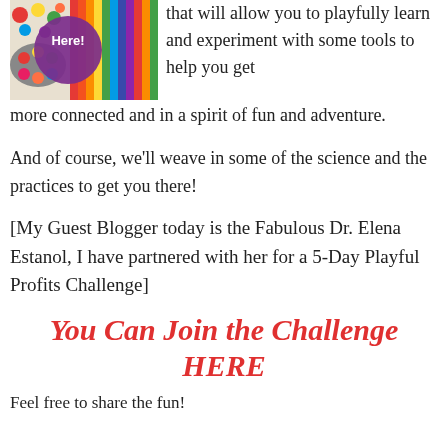[Figure (photo): Colorful art supplies including paint palettes and colored pencils with a purple circular overlay text 'Here!']
that will allow you to playfully learn and experiment with some tools to help you get more connected and in a spirit of fun and adventure.
And of course, we'll weave in some of the science and the practices to get you there!
[My Guest Blogger today is the Fabulous Dr. Elena Estanol, I have partnered with her for a 5-Day Playful Profits Challenge]
You Can Join the Challenge HERE
Feel free to share the fun!